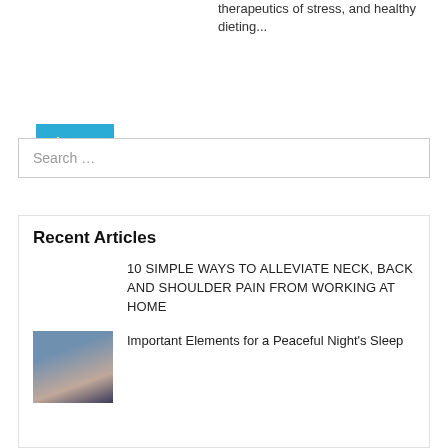therapeutics of stress, and healthy dieting...
Learn More
Search ...
Recent Articles
10 SIMPLE WAYS TO ALLEVIATE NECK, BACK AND SHOULDER PAIN FROM WORKING AT HOME
Important Elements for a Peaceful Night's Sleep